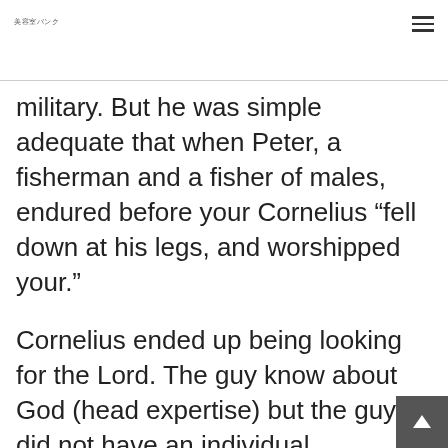美容室バンク
military. But he was simple adequate that when Peter, a fisherman and a fisher of males, endured before your Cornelius “fell down at his legs, and worshipped your.”
Cornelius ended up being looking for the Lord. The guy know about God (head expertise) but the guy did not have an individual connection (heart facts) with Him. Good guy who worries the Lord will search the Lord. A beneficial people just who fears god have a personal